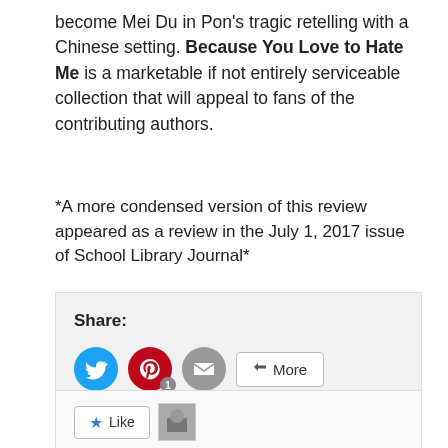become Mei Du in Pon's tragic retelling with a Chinese setting. Because You Love to Hate Me is a marketable if not entirely serviceable collection that will appeal to fans of the contributing authors.
*A more condensed version of this review appeared as a review in the July 1, 2017 issue of School Library Journal*
[Figure (screenshot): Share widget with Twitter, Pinterest (count 1), Email buttons and a More button]
[Figure (screenshot): Like button with star icon and a blogger avatar thumbnail; text: One blogger likes this.]